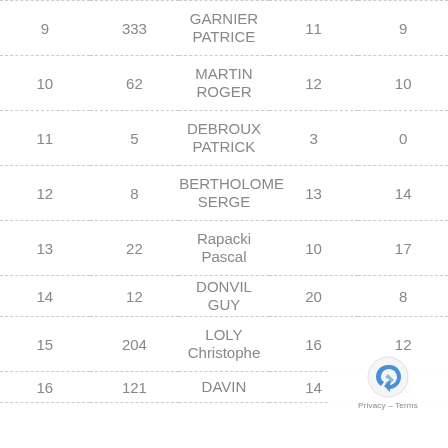| # | Nr | Name | Col4 | Col5 |
| --- | --- | --- | --- | --- |
| 9 | 333 | GARNIER PATRICE | 11 | 9 |
| 10 | 62 | MARTIN ROGER | 12 | 10 |
| 11 | 5 | DEBROUX PATRICK | 3 | 0 |
| 12 | 8 | BERTHOLOME SERGE | 13 | 14 |
| 13 | 22 | Rapacki Pascal | 10 | 17 |
| 14 | 12 | DONVIL GUY | 20 | 8 |
| 15 | 204 | LOLY Christophe | 16 | 12 |
| 16 | 121 | DAVIN | 14 | 16 |